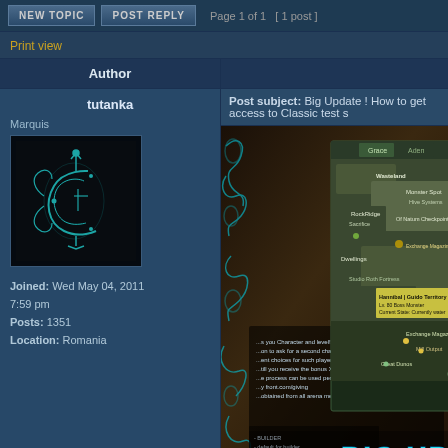NEW TOPIC   POST REPLY   Page 1 of 1  [ 1 post ]
Print view
| Author |  |
| --- | --- |
| tutanka | Post subject: Big Update ! How to get access to Classic test s |
| Marquis
Joined: Wed May 04, 2011 7:59 pm
Posts: 1351
Location: Romania | [game screenshot image] BIG UPDATE FO |
[Figure (screenshot): Game screenshot showing a dark fantasy game UI with a map panel showing locations: Wasteland, Monster Spot, Hive Systems, RockRidge, Sacrifice, Of Natum Checkpoint, Dwellings, Studio Roth Fortress, Hannibal | Guido Territory, Exchange Magazines, and text reading BIG UPDATE FO in cyan/yellow at bottom]
Dear Dexters, hope you are all safe and well!